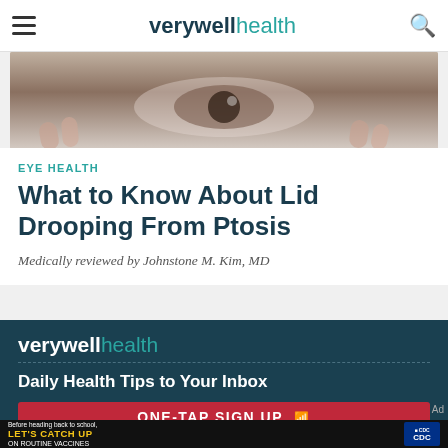verywellhealth
[Figure (photo): Close-up photo of a human eye being examined, showing reddened eye with fingers holding the eyelid open]
EYE HEALTH
What to Know About Lid Drooping From Ptosis
Medically reviewed by Johnstone M. Kim, MD
verywell health
Daily Health Tips to Your Inbox
ONE-TAP SIGN UP
[Figure (infographic): CDC advertisement banner: Before heading back to school, LET'S CATCH UP ON ROUTINE VACCINES with CDC logo and image of a young girl]